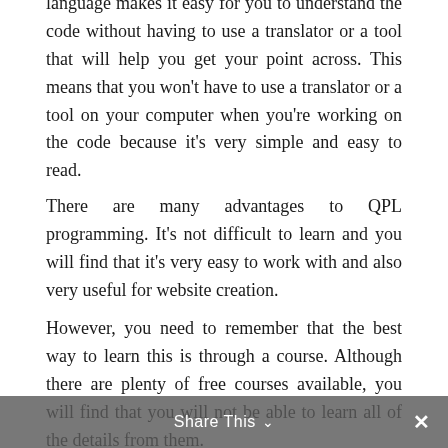language makes it easy for you to understand the code without having to use a translator or a tool that will help you get your point across. This means that you won't have to use a translator or a tool on your computer when you're working on the code because it's very simple and easy to read.
There are many advantages to QPL programming. It's not difficult to learn and you will find that it's very easy to work with and also very useful for website creation.
However, you need to remember that the best way to learn this is through a course. Although there are plenty of free courses available, you will find that you will not be able to learn all of the details from them.
Instead of using free courses to learn QPL, you will want to use a course that will give you more detailed instruction. If you learn the same information from a paid course, you will be able to learn much more quickly.
Share This